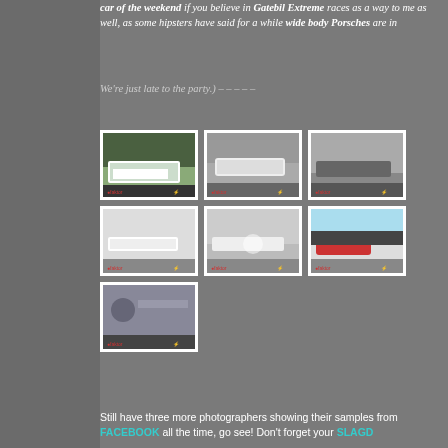car of the weekend if you believe in Gatebil Extreme races as a way to me as well, as some hipsters have said for a while wide body Porsches are in
We're just late to the party.) – – – – –
[Figure (photo): White wide-body race car on track with green background]
[Figure (photo): White sports car racing on track]
[Figure (photo): Dark colored car racing at speed on track]
[Figure (photo): White car drifting with smoke on track]
[Figure (photo): White sports car parked at track under cloudy sky]
[Figure (photo): Red vintage truck at race track]
[Figure (photo): Person photographing from car at track]
Still have three more photographers showing their samples from FACEBOOK all the time, go see! Don't forget your SLAGD